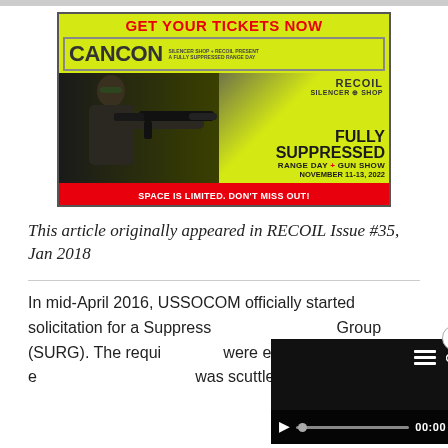[Figure (advertisement): CANCON advertisement for a Fully Suppressed Range Day + Gun Show, November 11-13, 2022. Presented by Recoil and Silencer Shop. Yellow-green background with man aiming suppressed rifle. Red text: GET YOUR TICKETS NOW and SPACE IS LIMITED. DON'T MISS OUT!]
This article originally appeared in RECOIL Issue #35, Jan 2018
In mid-April 2016, USSOCOM officially started solicitation for a Suppressed... Group (SURG). The requi... were extremely lofty and e... was scuttled. Then reborn...
[Figure (screenshot): Video player overlay with dark background, close button (x), playlist and share icons, play button, progress bar, 00:00 timestamp, and fullscreen button.]